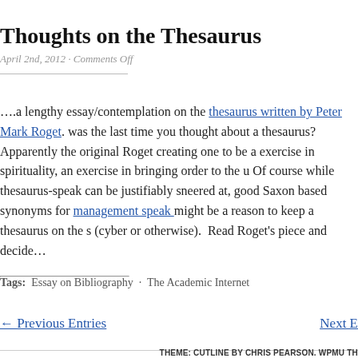Thoughts on the Thesaurus
April 2nd, 2012 · Comments Off
….a lengthy essay/contemplation on the thesaurus written by Peter Mark Roget. was the last time you thought about a thesaurus?  Apparently the original Roget creating one to be a exercise in spirituality, an exercise in bringing order to the u Of course while thesaurus-speak can be justifiably sneered at, good Saxon based synonyms for management speak might be a reason to keep a thesaurus on the s (cyber or otherwise).  Read Roget's piece and decide…
Tags:  Essay on Bibliography  ·  The Academic Internet
← Previous Entries
Next E
THEME: CUTLINE BY CHRIS PEARSON. WPMU TH